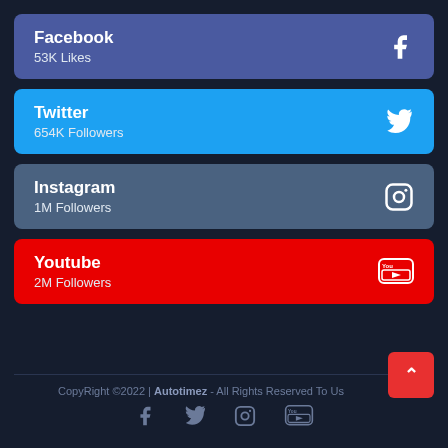Facebook — 53K Likes
Twitter — 654K Followers
Instagram — 1M Followers
Youtube — 2M Followers
CopyRight ©2022 | Autotimez - All Rights Reserved To Us